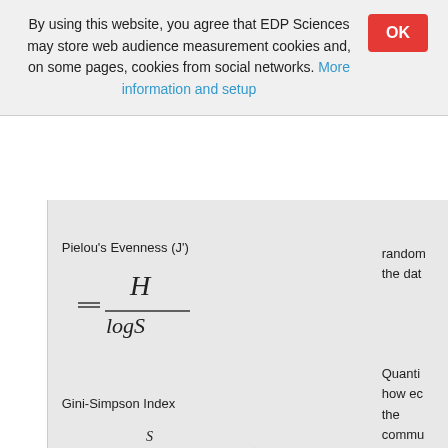By using this website, you agree that EDP Sciences may store web audience measurement cookies and, on some pages, cookies from social networks. More information and setup
random the dat
Quanti how ec the commu numeri
Quanti probab that tw individ (or ma drawn random from th same specie: